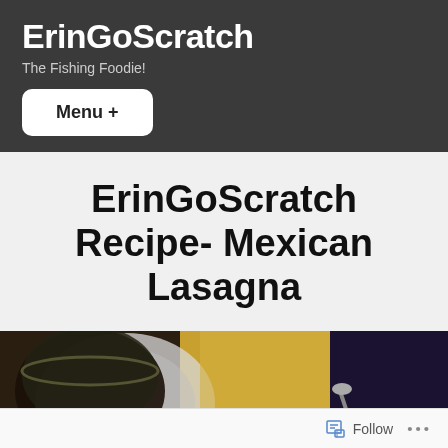ErinGoScratch
The Fishing Foodie!
Menu +
ErinGoScratch Recipe- Mexican Lasagna
[Figure (photo): Photo of cooking on a stovetop with a pot and pan, food visible]
Follow ...